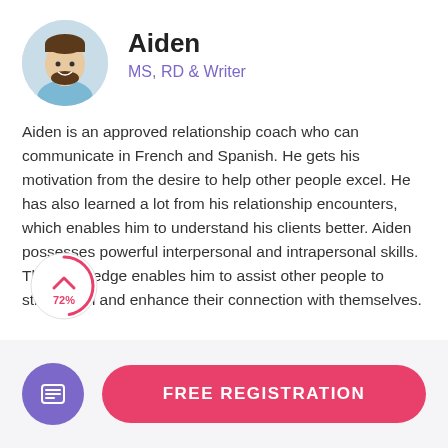Aiden
MS, RD & Writer
Aiden is an approved relationship coach who can communicate in French and Spanish. He gets his motivation from the desire to help other people excel. He has also learned a lot from his relationship encounters, which enables him to understand his clients better. Aiden possesses powerful interpersonal and intrapersonal skills. The knowledge enables him to assist other people to strengthen and enhance their connection with themselves.
[Figure (other): Scroll progress indicator showing 72% with an upward chevron arrow inside a circular border]
FREE REGISTRATION